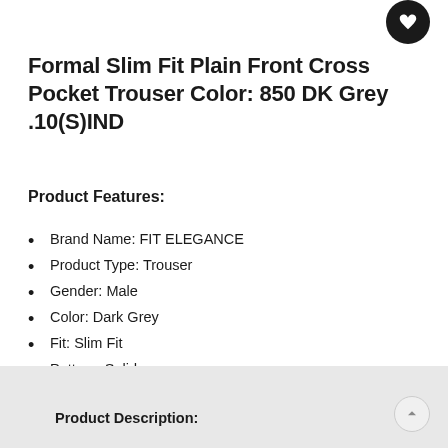Formal Slim Fit Plain Front Cross Pocket Trouser Color: 850 DK Grey .10(S)IND
Product Features:
Brand Name: FIT ELEGANCE
Product Type: Trouser
Gender: Male
Color: Dark Grey
Fit: Slim Fit
Pattern: Solid
Material: Poly Viscose Fabric
Country of manufacture: Bangladesh
Product Description: